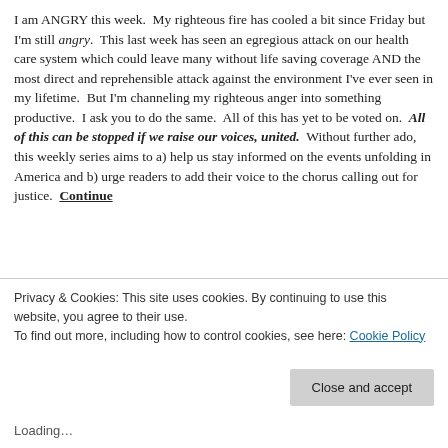I am ANGRY this week. My righteous fire has cooled a bit since Friday but I'm still angry. This last week has seen an egregious attack on our health care system which could leave many without life saving coverage AND the most direct and reprehensible attack against the environment I've ever seen in my lifetime. But I'm channeling my righteous anger into something productive. I ask you to do the same. All of this has yet to be voted on. All of this can be stopped if we raise our voices, united. Without further ado, this weekly series aims to a) help us stay informed on the events unfolding in America and b) urge readers to add their voice to the chorus calling out for justice. Continue
Privacy & Cookies: This site uses cookies. By continuing to use this website, you agree to their use.
To find out more, including how to control cookies, see here: Cookie Policy
Close and accept
Loading…